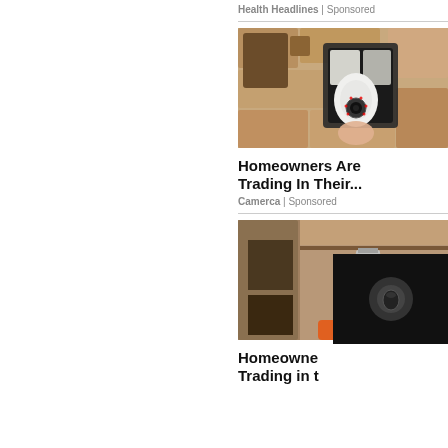Health Headlines | Sponsored
[Figure (photo): A wall-mounted outdoor light fixture with a security camera bulb inserted, mounted on a stone/plaster wall]
Homeowners Are Trading In Their...
Camerca | Sponsored
[Figure (photo): A hand holding a white light-bulb shaped security camera device, with a partially obscured dark overlay in the bottom right corner]
Homeowners Are Trading in t...